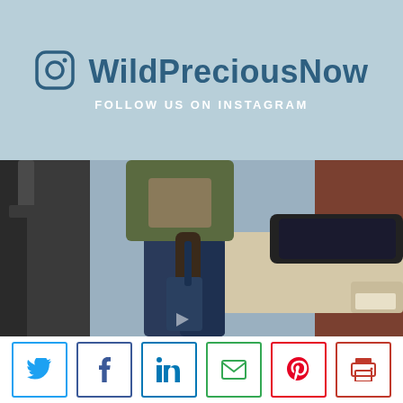[Figure (infographic): Instagram follow banner with light blue background, Instagram icon, username WildPreciousNow, and tagline FOLLOW US ON INSTAGRAM]
[Figure (photo): Person wearing green jacket and dark jeans holding a bag, standing near a car outdoors, viewed from behind/side]
[Figure (infographic): Social sharing buttons row: Twitter, Facebook, LinkedIn, Email, Pinterest, Print]